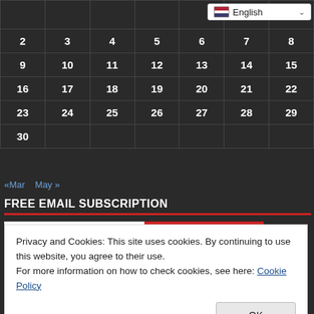|  |  |  |  |  |  |  |
| --- | --- | --- | --- | --- | --- | --- |
| 2 | 3 | 4 | 5 | 6 | 7 | 8 |
| 9 | 10 | 11 | 12 | 13 | 14 | 15 |
| 16 | 17 | 18 | 19 | 20 | 21 | 22 |
| 23 | 24 | 25 | 26 | 27 | 28 | 29 |
| 30 |  |  |  |  |  |  |
[Figure (screenshot): Language selector dropdown showing English with UK/US flag]
«Mar    May »
FREE EMAIL SUBSCRIPTION
Privacy and Cookies: This site uses cookies. By continuing to use this website, you agree to their use.
For more information on how to check cookies, see here: Cookie Policy
TCDD Communication Line 444 8 233